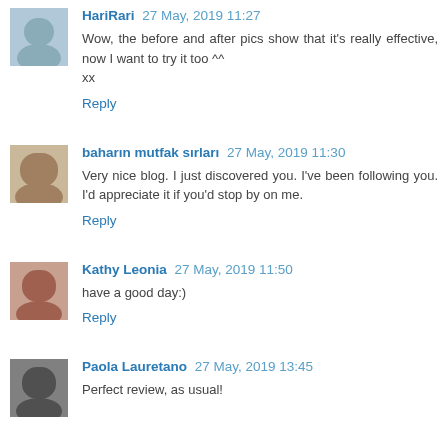HariRari 27 May, 2019 11:27
Wow, the before and after pics show that it's really effective, now I want to try it too ^^
xx
Reply
baharin mutfak sırlari 27 May, 2019 11:30
Very nice blog. I just discovered you. I've been following you. I'd appreciate it if you'd stop by on me.
Reply
Kathy Leonia 27 May, 2019 11:50
have a good day:)
Reply
Paola Lauretano 27 May, 2019 13:45
Perfect review, as usual!